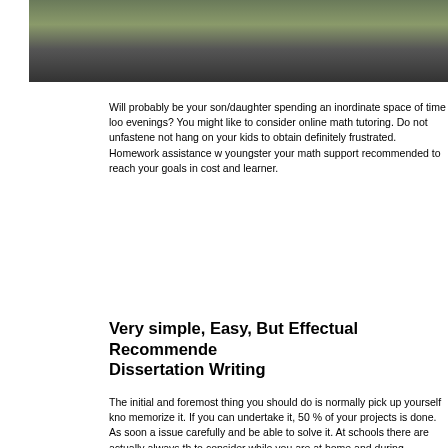[Figure (photo): Outdoor photo showing a person and a car on what appears to be a street or parking area]
Will probably be your son/daughter spending an inordinate space of time looking on evenings? You might like to consider online math tutoring. Do not unfastened and not hang on your kids to obtain definitely frustrated. Homework assistance will give youngster your math support recommended to reach your goals in cost and learner.
Very simple, Easy, But Effectual Recommendations For Dissertation Writing
The initial and foremost thing you should do is normally pick up yourself knowing memorize it. If you can undertake it, 50 % of your projects is done. As soon as issue carefully and be able to solve it. At schools there are actually always things to consider while you are at home and during vacations. Certain wait till you on that long. Have you heard anything like online tutoring, it helps kids online but schedule it is sometimes complicated to take into account online classes, just tutoring. So if you have math concepts problems, besides from ones school help and you should purchase your mathematics answers there. There is also not necessarily which costly that you afford. So when you will want mathematics might get the idea. Technology has made lifetime easier and also a shorter time made solving math simple.
Pre Algebra is responsible with developing a impression of intuition in students they could quite simply face various complexities later on. Nevertheless, this thorough knowledge of a variety of algebraic concepts. It is incredibly important